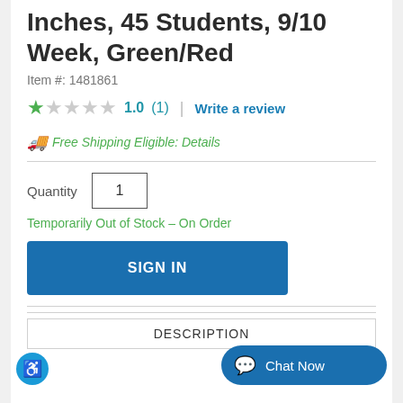Inches, 45 Students, 9/10 Week, Green/Red
Item #: 1481861
★ 1.0 (1)  |  Write a review
🚚 Free Shipping Eligible: Details
Quantity  1
Temporarily Out of Stock – On Order
SIGN IN
DESCRIPTION
Chat Now